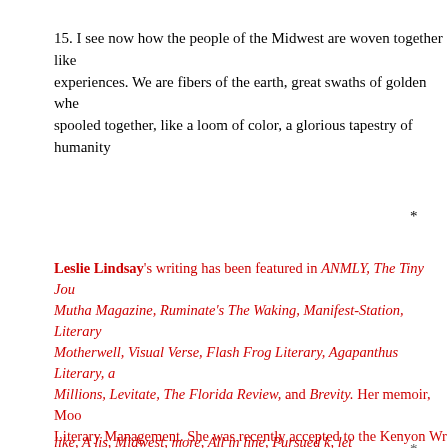15. I see now how the people of the Midwest are woven together like experiences. We are fibers of the earth, great swaths of golden whe spooled together, like a loom of color, a glorious tapestry of humanity
*
Leslie Lindsay's writing has been featured in ANMLY, The Tiny Jou Mutha Magazine, Ruminate's The Waking, Manifest-Station, Literary Motherwell, Visual Verse, Flash Frog Literary, Agapanthus Literary, a Millions, Levitate, The Florida Review, and Brevity. Her memoir, Moo Literary Management. She was recently accepted to the Kenyon Wr The Art of Flash. Leslie resides in the Greater Chicago suburbs and connections. She can be found @leslielindsay1 on Twitter and Insta
*
like, A lis, Midwest, more, All in line, Pursued k, let